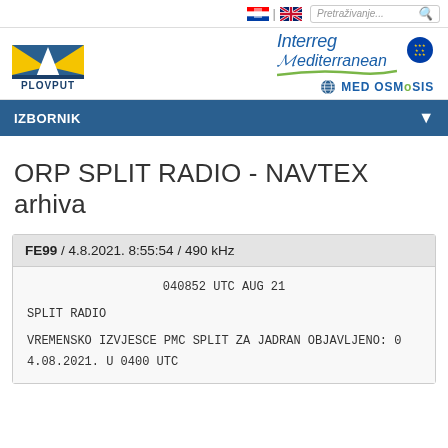[Figure (screenshot): Top navigation bar with Croatian and UK flags and a search box labeled Pretraživanje]
[Figure (logo): PLOVPUT logo on the left and Interreg Mediterranean / MED OSMoSIS logo on the right]
IZBORNIK
ORP SPLIT RADIO - NAVTEX arhiva
FE99 / 4.8.2021. 8:55:54 / 490 kHz
040852 UTC AUG 21

SPLIT RADIO

VREMENSKO IZVJESCE PMC SPLIT ZA JADRAN OBJAVLJENO: 0
4.08.2021. U 0400 UTC